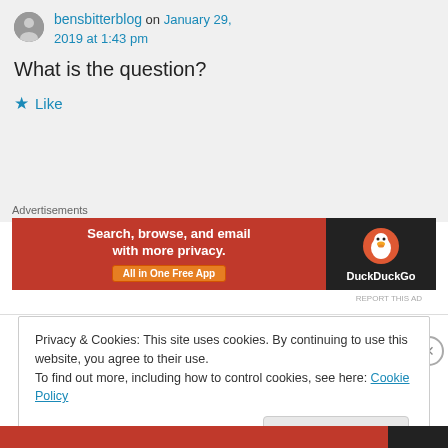bensbitterblog on January 29, 2019 at 1:43 pm
What is the question?
★ Like
Advertisements
[Figure (other): DuckDuckGo advertisement banner: orange left panel with text 'Search, browse, and email with more privacy. All in One Free App' and dark right panel with DuckDuckGo logo and duck icon.]
REPORT THIS AD
Privacy & Cookies: This site uses cookies. By continuing to use this website, you agree to their use.
To find out more, including how to control cookies, see here: Cookie Policy
Close and accept